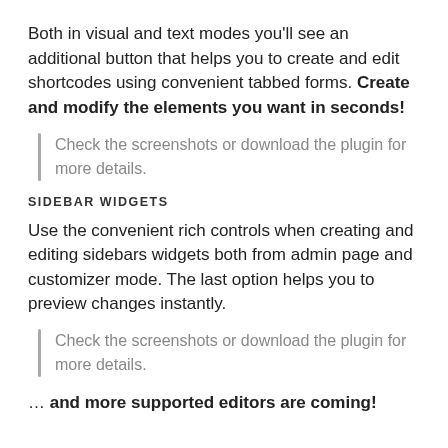Both in visual and text modes you'll see an additional button that helps you to create and edit shortcodes using convenient tabbed forms. Create and modify the elements you want in seconds!
Check the screenshots or download the plugin for more details.
SIDEBAR WIDGETS
Use the convenient rich controls when creating and editing sidebars widgets both from admin page and customizer mode. The last option helps you to preview changes instantly.
Check the screenshots or download the plugin for more details.
… and more supported editors are coming!